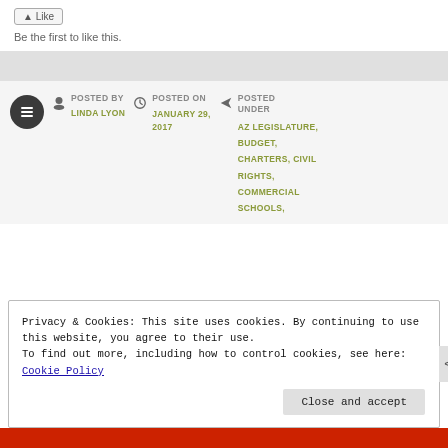Be the first to like this.
POSTED BY
LINDA LYON
POSTED ON
JANUARY 29, 2017
POSTED UNDER
AZ LEGISLATURE, BUDGET, CHARTERS, CIVIL RIGHTS, COMMERCIAL SCHOOLS,
Privacy & Cookies: This site uses cookies. By continuing to use this website, you agree to their use.
To find out more, including how to control cookies, see here: Cookie Policy
Close and accept